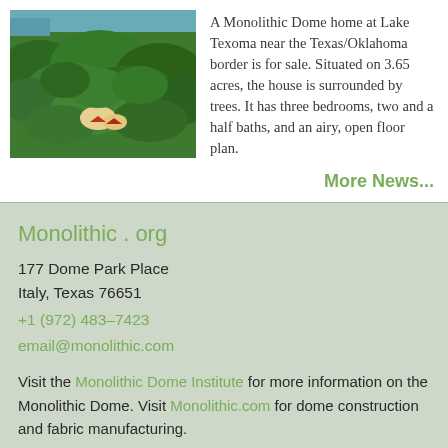[Figure (photo): Aerial view of a Monolithic Dome home surrounded by dense green forest near Lake Texoma, with the dome structure visible among the trees with a red roof.]
A Monolithic Dome home at Lake Texoma near the Texas/Oklahoma border is for sale. Situated on 3.65 acres, the house is surrounded by trees. It has three bedrooms, two and a half baths, and an airy, open floor plan.
More News...
Monolithic . org
177 Dome Park Place
Italy, Texas 76651
+1 (972) 483-7423
email@monolithic.com
Visit the Monolithic Dome Institute for more information on the Monolithic Dome. Visit Monolithic.com for dome construction and fabric manufacturing.